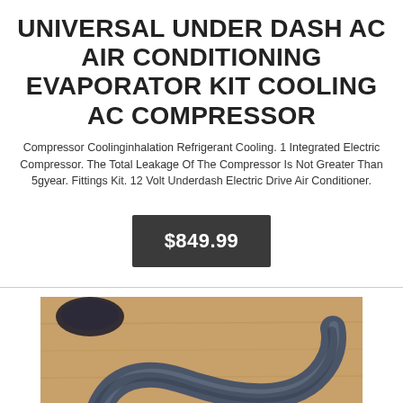UNIVERSAL UNDER DASH AC AIR CONDITIONING EVAPORATOR KIT COOLING AC COMPRESSOR
Compressor Coolinginhalation Refrigerant Cooling. 1 Integrated Electric Compressor. The Total Leakage Of The Compressor Is Not Greater Than 5gyear. Fittings Kit. 12 Volt Underdash Electric Drive Air Conditioner.
$849.99
[Figure (photo): A blue/gray rubber hose or pipe fitting shaped in a curve, lying on a wooden table surface, with a dark round object visible in the upper left background.]